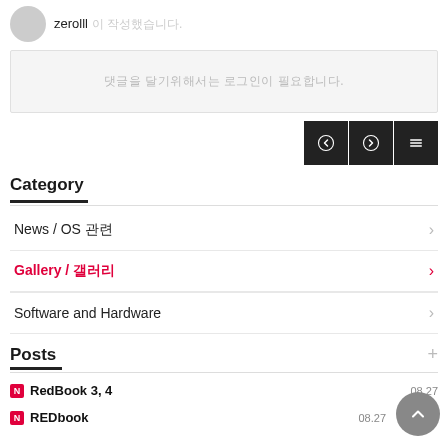zerolll 이 작성했습니다.
댓글을 달기위해서는 로그인이 필요합니다.
[Figure (screenshot): Navigation buttons: previous, next, and menu icons on dark background]
Category
News / OS 관련
Gallery / 갤러리
Software and Hardware
Posts
RedBook 3, 4
REDbook